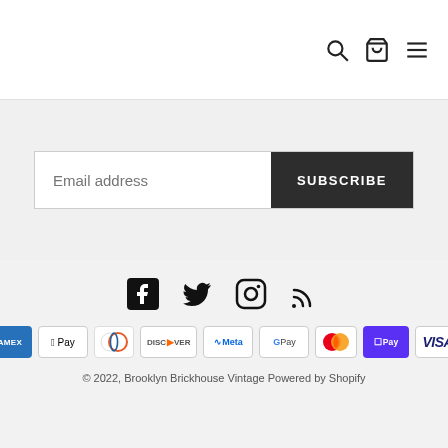[Figure (logo): B&B t-shirt logo icon]
[Figure (other): Search, bag, and hamburger menu icons in header]
Email address
SUBSCRIBE
[Figure (other): Social media icons: Facebook, Twitter, Instagram, RSS]
[Figure (other): Payment icons: American Express, Apple Pay, Diners Club, Discover, Meta Pay, Google Pay, Mastercard, Shop Pay, Visa]
© 2022, Brooklyn Brickhouse Vintage Powered by Shopify